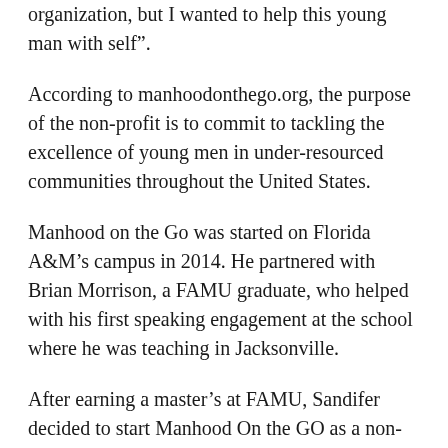organization, but I wanted to help this young man with self”.
According to manhoodonthego.org, the purpose of the non-profit is to commit to tackling the excellence of young men in under-resourced communities throughout the United States.
Manhood on the Go was started on Florida A&M’s campus in 2014. He partnered with Brian Morrison, a FAMU graduate, who helped with his first speaking engagement at the school where he was teaching in Jacksonville.
After earning a master’s at FAMU, Sandifer decided to start Manhood On the GO as a non-profit in March 2017.